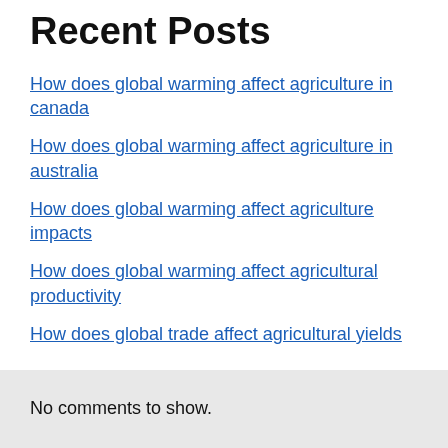Recent Posts
How does global warming affect agriculture in canada
How does global warming affect agriculture in australia
How does global warming affect agriculture impacts
How does global warming affect agricultural productivity
How does global trade affect agricultural yields
No comments to show.